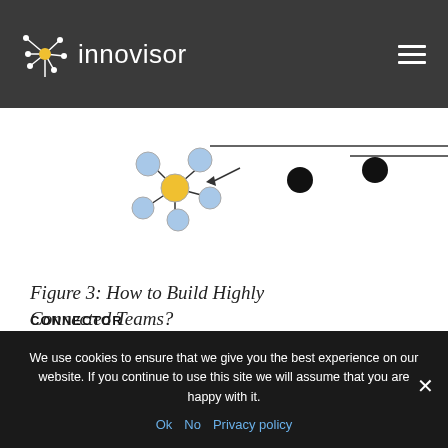innovisor
[Figure (network-graph): Network diagram showing a connector node (yellow circle) at center connected to multiple blue circle nodes, with black circle nodes and lines extending outward. Label 'CONNECTOR' below the yellow node.]
Figure 3: How to Build Highly Connected Teams?
1. The right people worked together.
We use cookies to ensure that we give you the best experience on our website. If you continue to use this site we will assume that you are happy with it.